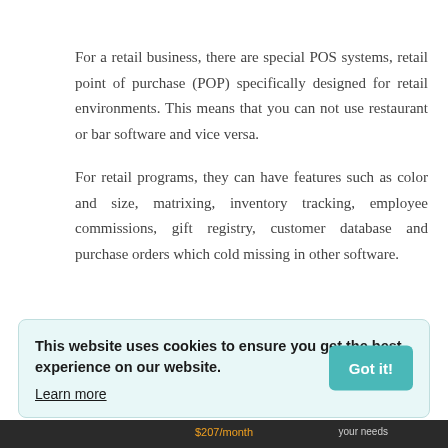For a retail business, there are special POS systems, retail point of purchase (POP) specifically designed for retail environments. This means that you can not use restaurant or bar software and vice versa.
For retail programs, they can have features such as color and size, matrixing, inventory tracking, employee commissions, gift registry, customer database and purchase orders which cold missing in other software.
This website uses cookies to ensure you get the best experience on our website. Learn more